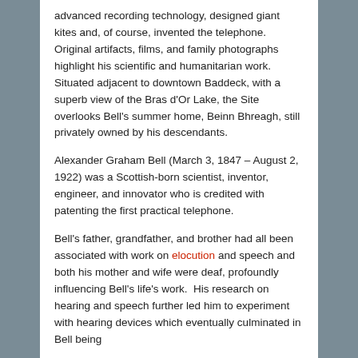advanced recording technology, designed giant kites and, of course, invented the telephone. Original artifacts, films, and family photographs highlight his scientific and humanitarian work.  Situated adjacent to downtown Baddeck, with a superb view of the Bras d'Or Lake, the Site overlooks Bell's summer home, Beinn Bhreagh, still privately owned by his descendants.
Alexander Graham Bell (March 3, 1847 – August 2, 1922) was a Scottish-born scientist, inventor, engineer, and innovator who is credited with patenting the first practical telephone.
Bell's father, grandfather, and brother had all been associated with work on elocution and speech and both his mother and wife were deaf, profoundly influencing Bell's life's work.  His research on hearing and speech further led him to experiment with hearing devices which eventually culminated in Bell being